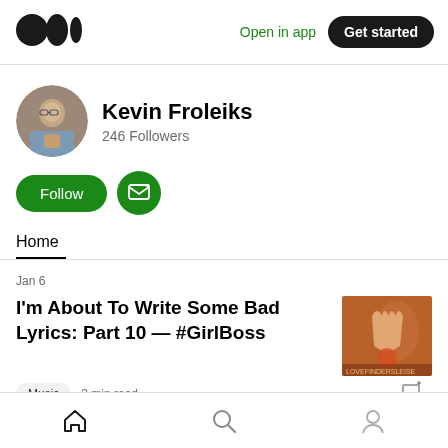Medium logo | Open in app | Get started
[Figure (photo): Medium logo: three overlapping circles (two black, one outlined)]
Open in app
Get started
[Figure (photo): Round profile photo of Kevin Froleiks, a man sitting at a table]
Kevin Froleiks
246 Followers
Follow
Home
Jan 6
I'm About To Write Some Bad Lyrics: Part 10 — #GirlBoss
[Figure (photo): Thumbnail image for article - orange/red toned artistic photo with hand]
Music  3 min read
Home | Search | Profile (bottom navigation)